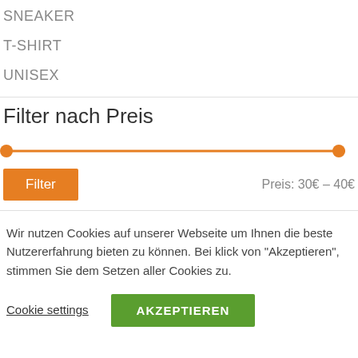SNEAKER
T-SHIRT
UNISEX
Filter nach Preis
[Figure (other): Price range slider with orange track and two orange circular handles, spanning full width]
Filter
Preis: 30€ – 40€
Wir nutzen Cookies auf unserer Webseite um Ihnen die beste Nutzererfahrung bieten zu können. Bei klick von "Akzeptieren", stimmen Sie dem Setzen aller Cookies zu.
Cookie settings
AKZEPTIEREN